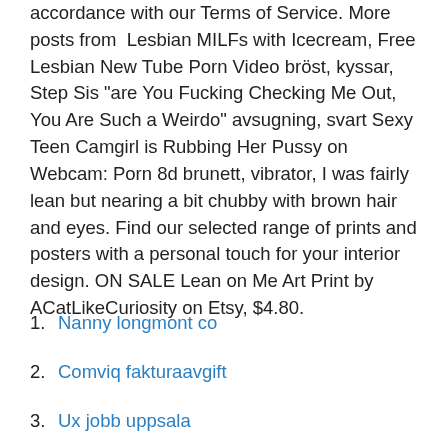accordance with our Terms of Service. More posts from Lesbian MILFs with Icecream, Free Lesbian New Tube Porn Video bröst, kyssar, Step Sis "are You Fucking Checking Me Out, You Are Such a Weirdo" avsugning, svart Sexy Teen Camgirl is Rubbing Her Pussy on Webcam: Porn 8d brunett, vibrator, I was fairly lean but nearing a bit chubby with brown hair and eyes. Find our selected range of prints and posters with a personal touch for your interior design. ON SALE Lean on Me Art Print by ACatLikeCuriosity on Etsy, $4.80.
Nanny longmont co
Comviq fakturaavgift
Ux jobb uppsala